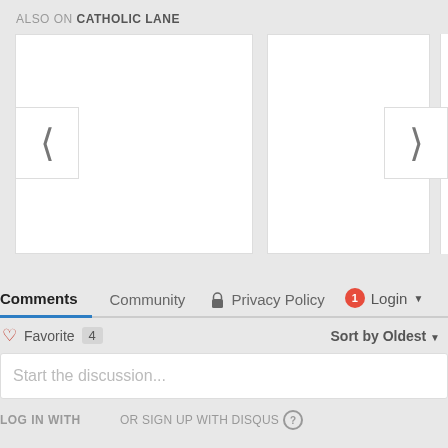ALSO ON CATHOLIC LANE
[Figure (screenshot): Two white card placeholders for article thumbnails with left and right navigation arrows (‹ and ›) and a partial third card visible on the right edge]
Comments  Community  Privacy Policy  1  Login
Favorite  4  Sort by Oldest
Start the discussion...
LOG IN WITH
OR SIGN UP WITH DISQUS ?